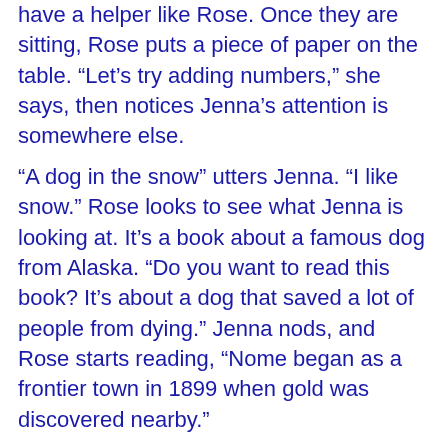have a helper like Rose. Once they are sitting, Rose puts a piece of paper on the table. “Let’s try adding numbers,” she says, then notices Jenna’s attention is somewhere else.
“A dog in the snow” utters Jenna. “I like snow.” Rose looks to see what Jenna is looking at. It’s a book about a famous dog from Alaska. “Do you want to read this book? It’s about a dog that saved a lot of people from dying.” Jenna nods, and Rose starts reading, “Nome began as a frontier town in 1899 when gold was discovered nearby.”
It’s been many years since she first heard the story of Balto the sled dog. Now along with a team of young dogs loaned to her by Karen Ramstead, Jenna is standing at the starting line of the Yukon Quest, one of only two sled races to have a route that spans more than 1000 miles.
Jenna watches as the seconds on the clock move